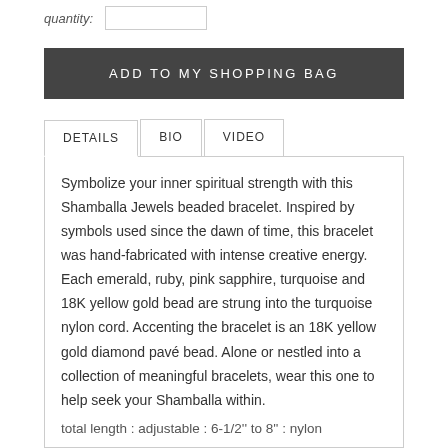quantity:
ADD TO MY SHOPPING BAG
DETAILS  BIO  VIDEO
Symbolize your inner spiritual strength with this Shamballa Jewels beaded bracelet. Inspired by symbols used since the dawn of time, this bracelet was hand-fabricated with intense creative energy. Each emerald, ruby, pink sapphire, turquoise and 18K yellow gold bead are strung into the turquoise nylon cord. Accenting the bracelet is an 18K yellow gold diamond pavé bead. Alone or nestled into a collection of meaningful bracelets, wear this one to help seek your Shamballa within.
total length : adjustable : 6-1/2'' to 8'' : nylon